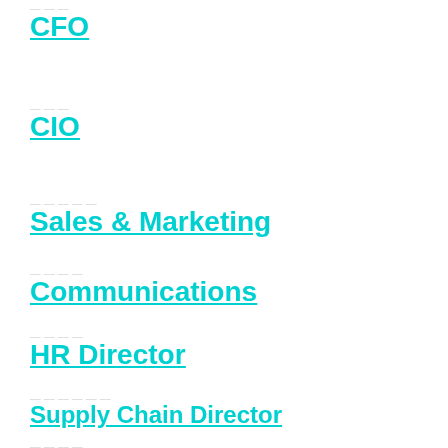CFO
CIO
Sales & Marketing
Communications
HR Director
Supply Chain Director
Integration Director